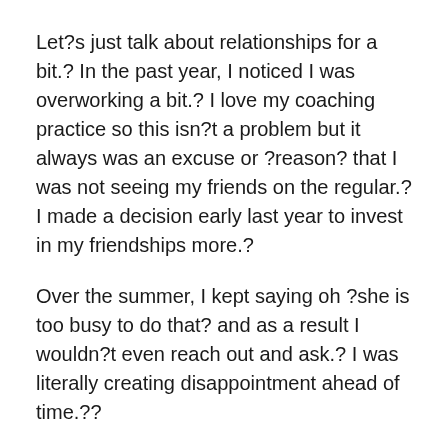Let?s just talk about relationships for a bit.? In the past year, I noticed I was overworking a bit.? I love my coaching practice so this isn?t a problem but it always was an excuse or ?reason? that I was not seeing my friends on the regular.? I made a decision early last year to invest in my friendships more.?
Over the summer, I kept saying oh ?she is too busy to do that? and as a result I wouldn?t even reach out and ask.? I was literally creating disappointment ahead of time.??